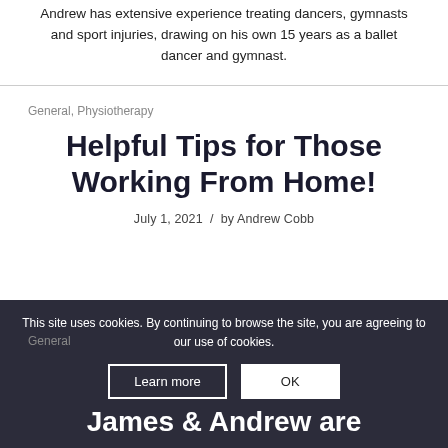Andrew has extensive experience treating dancers, gymnasts and sport injuries, drawing on his own 15 years as a ballet dancer and gymnast.
General, Physiotherapy
Helpful Tips for Those Working From Home!
July 1, 2021 / by Andrew Cobb
This site uses cookies. By continuing to browse the site, you are agreeing to our use of cookies.
General
James & Andrew are